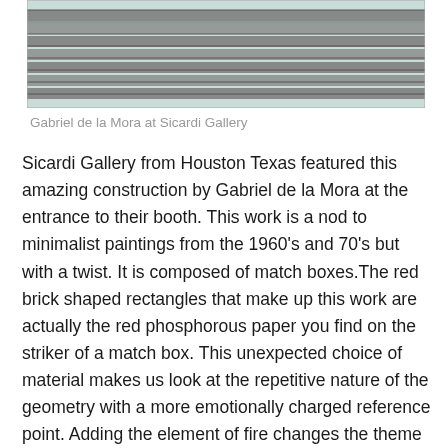[Figure (photo): Partial view of an artwork by Gabriel de la Mora — a construction made of match box striker strips arranged in parallel rows, showing red phosphorous paper rectangles on a light background. Only the bottom portion of the artwork is visible, framed with a thin border.]
Gabriel de la Mora at Sicardi Gallery
Sicardi Gallery from Houston Texas featured this amazing construction by Gabriel de la Mora at the entrance to their booth. This work is a nod to minimalist paintings from the 1960's and 70's but with a twist. It is composed of match boxes.The red brick shaped rectangles that make up this work are actually the red phosphorous paper you find on the striker of a match box. This unexpected choice of material makes us look at the repetitive nature of the geometry with a more emotionally charged reference point. Adding the element of fire changes the theme of the work, but the geometry stays true to the Minimalist roots. La Mora's background as an architect is apparent in the precision involved in the creating the parallel lines to form